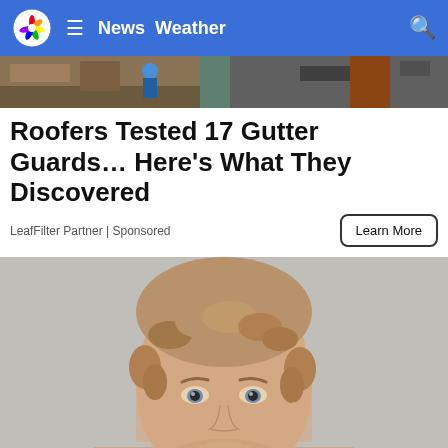NBC News Weather
[Figure (photo): Top banner strip showing partial images of outdoor/nature scenes]
Roofers Tested 17 Gutter Guards… Here's What They Discovered
LeafFilter Partner | Sponsored
[Figure (photo): Mugshot photo of a young man with curly blonde/brown hair and light beard, neutral expression, against a gray background]
[Figure (other): Fall Love KR C advertisement banner - KROC Quincy fall programs on sale, climbing, rentals and events]